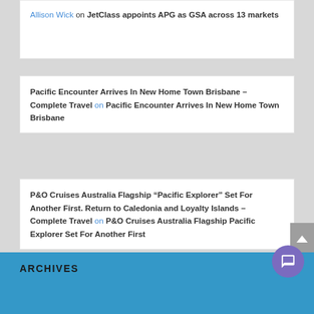Allison Wick on JetClass appoints APG as GSA across 13 markets
Pacific Encounter Arrives In New Home Town Brisbane – Complete Travel on Pacific Encounter Arrives In New Home Town Brisbane
P&O Cruises Australia Flagship "Pacific Explorer" Set For Another First. Return to Caledonia and Loyalty Islands – Complete Travel on P&O Cruises Australia Flagship Pacific Explorer Set For Another First
ARCHIVES